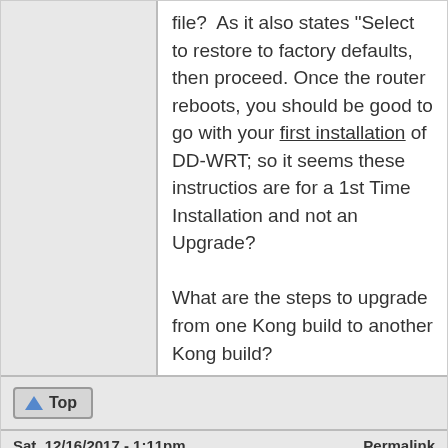file?  As it also states "Select to restore to factory defaults, then proceed. Once the router reboots, you should be good to go with your first installation of DD-WRT; so it seems these instructios are for a 1st Time Installation and not an Upgrade?

What are the steps to upgrade from one Kong build to another Kong build?
Top
Sat, 12/16/2017 - 1:11pm    Permalink
shane8750
resetting l to factory simply means rosot to default, if on dd wrt already